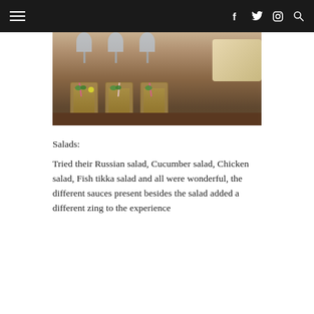Navigation bar with hamburger menu, Facebook, Twitter, Instagram icons and search icon
[Figure (photo): Three iced tea or cocktail drinks in tumbler glasses with straws and mint garnish on a wooden table, with wine glasses and a food dish visible in the background]
Salads:
Tried their Russian salad, Cucumber salad, Chicken salad, Fish tikka salad and all were wonderful, the different sauces present besides the salad added a different zing to the experience